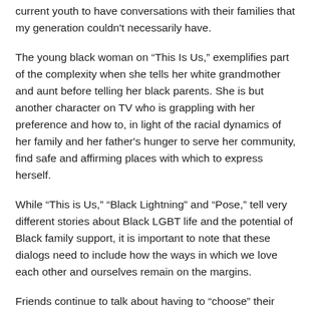current youth to have conversations with their families that my generation couldn't necessarily have.
The young black woman on “This Is Us,” exemplifies part of the complexity when she tells her white grandmother and aunt before telling her black parents. She is but another character on TV who is grappling with her preference and how to, in light of the racial dynamics of her family and her father's hunger to serve her community, find safe and affirming places with which to express herself.
While “This is Us,” “Black Lightning” and “Pose,” tell very different stories about Black LGBT life and the potential of Black family support, it is important to note that these dialogs need to include how the ways in which we love each other and ourselves remain on the margins.
Friends continue to talk about having to “choose” their